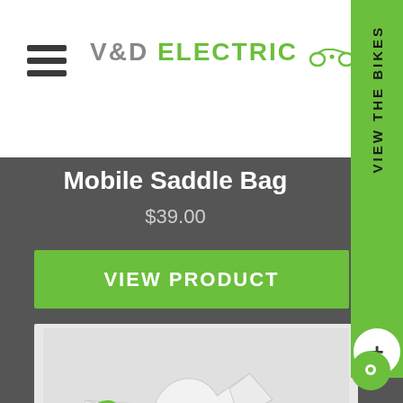[Figure (logo): V&D Electric Bikes logo with hamburger menu icon on white header bar]
Mobile Saddle Bag
$39.00
VIEW PRODUCT
[Figure (photo): White t-shirt laid flat showing 'God-speed' text with phonetic pronunciation and definition: an expression of good wishes to a person starting a journey.]